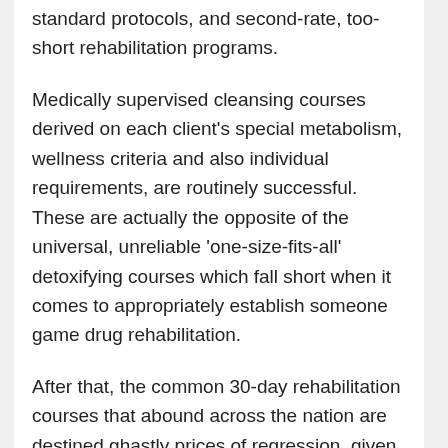standard protocols, and second-rate, too-short rehabilitation programs.
Medically supervised cleansing courses derived on each client's special metabolism, wellness criteria and also individual requirements, are routinely successful. These are actually the opposite of the universal, unreliable 'one-size-fits-all' detoxifying courses which fall short when it comes to appropriately establish someone game drug rehabilitation.
After that, the common 30-day rehabilitation courses that abound across the nation are destined ghastly prices of regression, given that they are also shallow, and too short. This has led many individuals to think about genuine rehabilitation an impossible dream. Study has absolutely confirmed that severe obsessions, incorporating any type of prescribed